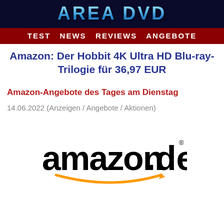AREA DVD
TEST NEWS REVIEWS ANGEBOTE
Amazon: Der Hobbit 4K Ultra HD Blu-ray-Trilogie für 36,97 EUR
Amazon-Angebote des Tages am Dienstag
14.06.2022 (Anzeigen / Angebote / Aktionen)
[Figure (logo): amazon.de logo with orange smile arrow beneath the text]